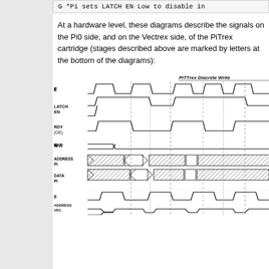G *Pi sets LATCH EN Low to disable in
At a hardware level, these diagrams describe the signals on the Pi0 side, and on the Vectrex side, of the PiTrex cartridge (stages described above are marked by letters at the bottom of the diagrams):
[Figure (engineering-diagram): Timing diagram showing digital signals: E-bar, LATCH EN, RDY (OE-bar), R/W-bar, ADDRESS PI, DATA PI (Pi0 side) and E, ADDRESS VEC, DATA VEC (Vectrex side). Vertical dashed lines mark timing stages. Label 'PiTTrex Discrete Write' visible at top right.]